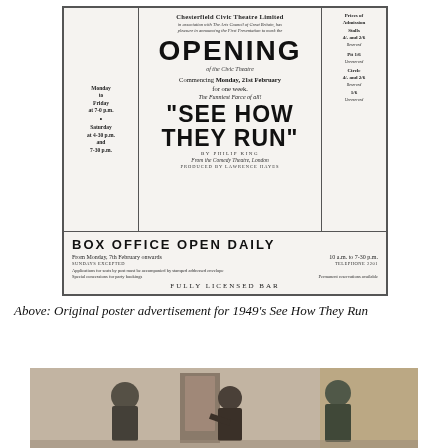[Figure (other): Original poster advertisement for Chesterfield Civic Theatre Limited presenting the opening of the Civic Theatre with 'See How They Run' by Philip King, commencing Monday 21st February for one week. Includes box office information and pricing.]
Above: Original poster advertisement for 1949's See How They Run
[Figure (photo): Black and white photograph showing three actors in a theatrical scene, two women and one man in military uniform, appearing to be from a stage production.]